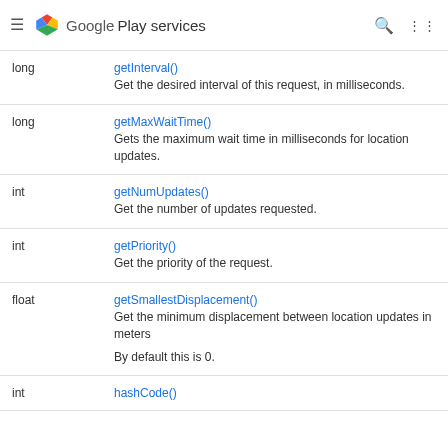Google Play services
| Type | Method/Description |
| --- | --- |
| long | getInterval()
Get the desired interval of this request, in milliseconds. |
| long | getMaxWaitTime()
Gets the maximum wait time in milliseconds for location updates. |
| int | getNumUpdates()
Get the number of updates requested. |
| int | getPriority()
Get the priority of the request. |
| float | getSmallestDisplacement()
Get the minimum displacement between location updates in meters

By default this is 0. |
| int | hashCode() |